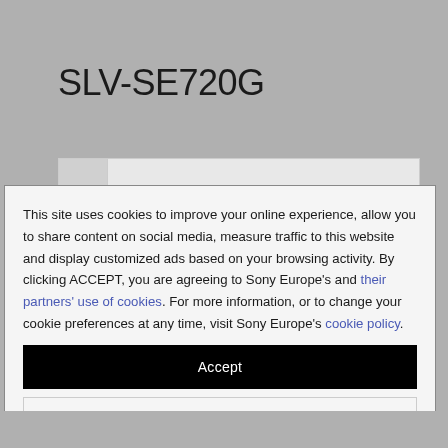SLV-SE720G
This site uses cookies to improve your online experience, allow you to share content on social media, measure traffic to this website and display customized ads based on your browsing activity. By clicking ACCEPT, you are agreeing to Sony Europe's and their partners' use of cookies. For more information, or to change your cookie preferences at any time, visit Sony Europe's cookie policy.
Accept
Manage Cookies